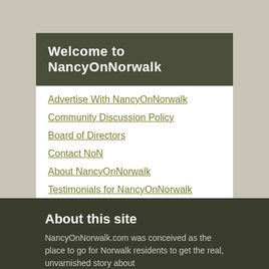Welcome to NancyOnNorwalk
Advertise With NancyOnNorwalk
Community Discussion Policy
Board of Directors
Contact NoN
About NancyOnNorwalk
Testimonials for NancyOnNorwalk
Support NancyOnNorwalk
About this site
NancyOnNorwalk.com was conceived as the place to go for Norwalk residents to get the real, unvarnished story about